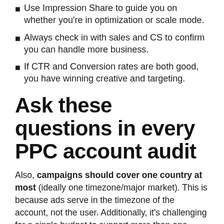Use Impression Share to guide you on whether you're in optimization or scale mode.
Always check in with sales and CS to confirm you can handle more business.
If CTR and Conversion rates are both good, you have winning creative and targeting.
Ask these questions in every PPC account audit
Also, campaigns should cover one country at most (ideally one timezone/major market). This is because ads serve in the timezone of the account, not the user. Additionally, it's challenging for a single budget to support more than one major market. Use Impression Share (and impression share lost to budget) to guide you on if you're asking your budget to handle too much.